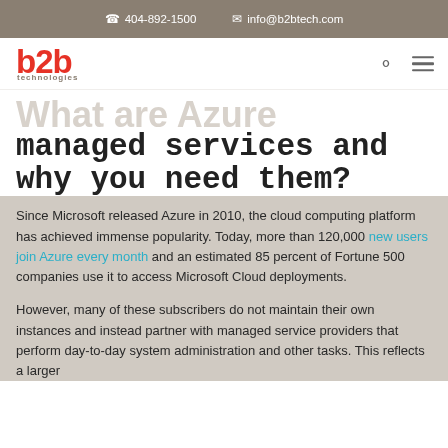404-892-1500   info@b2btech.com
[Figure (logo): b2b technologies logo in red]
What are Azure managed services and why you need them?
Since Microsoft released Azure in 2010, the cloud computing platform has achieved immense popularity. Today, more than 120,000 new users join Azure every month and an estimated 85 percent of Fortune 500 companies use it to access Microsoft Cloud deployments.
However, many of these subscribers do not maintain their own instances and instead partner with managed service providers that perform day-to-day system administration and other tasks. This reflects a larger